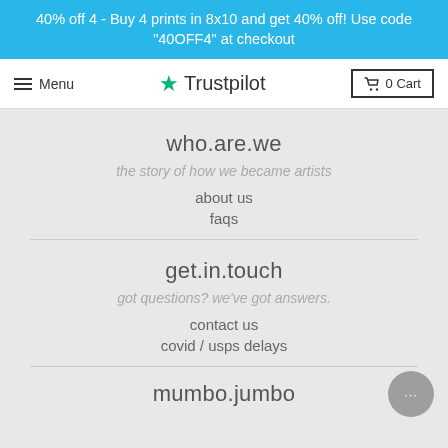40% off 4 - Buy 4 prints in 8x10 and get 40% off! Use code "40OFF4" at checkout
[Figure (logo): Navigation bar with hamburger menu icon and 'Menu' text on left, Trustpilot logo with green star in center, and cart button with '0 Cart' on right]
who.are.we
the story of how we became artists
about us
faqs
get.in.touch
got questions? we've got answers.
contact us
covid / usps delays
mumbo.jumbo